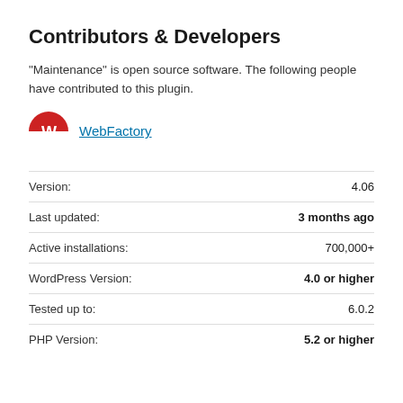Contributors & Developers
“Maintenance” is open source software. The following people have contributed to this plugin.
[Figure (logo): WebFactory logo — circular icon with red top half and navy blue bottom half, white stylized W letter inside]
WebFactory
|  |  |
| --- | --- |
| Version: | 4.06 |
| Last updated: | 3 months ago |
| Active installations: | 700,000+ |
| WordPress Version: | 4.0 or higher |
| Tested up to: | 6.0.2 |
| PHP Version: | 5.2 or higher |